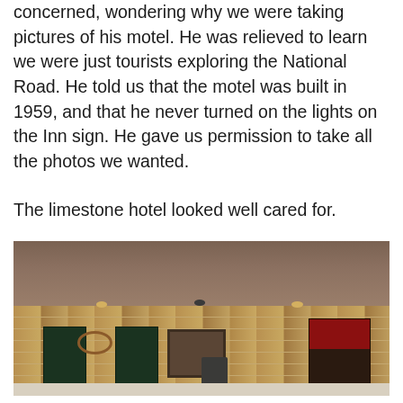concerned, wondering why we were taking pictures of his motel. He was relieved to learn we were just tourists exploring the National Road. He told us that the motel was built in 1959, and that he never turned on the lights on the Inn sign. He gave us permission to take all the photos we wanted.
The limestone hotel looked well cared for.
[Figure (photo): Exterior of a limestone motel building with a brown shingle roof, dark green doors, a central window, wall-mounted lights, a circular decorative element, a trash can, and a Dr Pepper vending machine on the right side. The parking area in the foreground shows a yellow curb marking.]